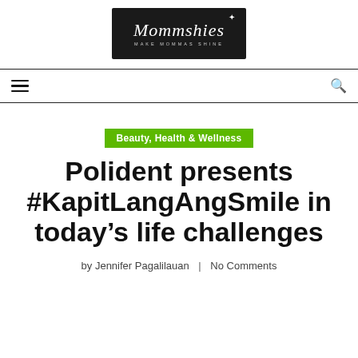[Figure (logo): Mommshies logo — dark background with script font text 'Mommshies' and subtitle 'MAKE MOMMAS SHINE' with a decorative star]
Beauty, Health & Wellness
Polident presents #KapitLangAngSmile in today’s life challenges
by Jennifer Pagalilauan | No Comments